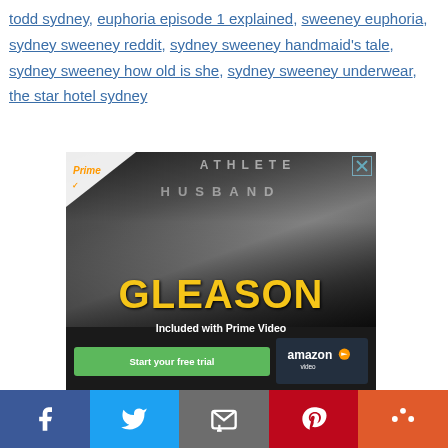todd sydney, euphoria episode 1 explained, sweeney euphoria, sydney sweeney reddit, sydney sweeney handmaid's tale, sydney sweeney how old is she, sydney sweeney underwear, the star hotel sydney
[Figure (advertisement): Amazon Prime Video ad for 'Gleason' documentary. Shows a man's face with text 'ATHLETE HUSBAND GLEASON Included with Prime Video' and a green 'Start your free trial' button with Amazon Video logo. Prime badge in top-left corner. Close button (X) in top-right corner.]
Recent Stories
[Figure (infographic): Social media sharing bar with buttons: Facebook (blue), Twitter (light blue), Email (gray), Pinterest (red), More (orange-red)]